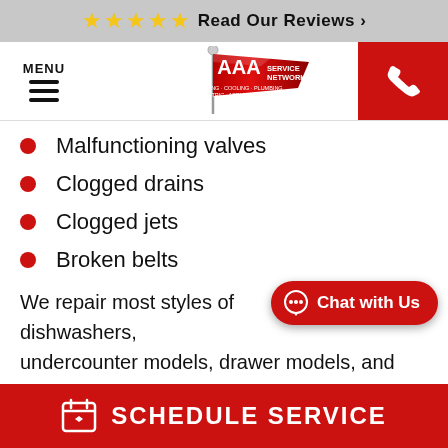★★★★★ Read Our Reviews >
[Figure (logo): AAA Service Network logo — red flag with AAA text, subtext: HEATING · COOLING · PLUMBING ELECTRIC · APPLIANCE REPAIR. Navigation bar with MENU hamburger and phone icon.]
Malfunctioning valves
Clogged drains
Clogged jets
Broken belts
We repair most styles of dishwashers, undercounter models, drawer models, and portable units.
SCHEDULE SERVICE